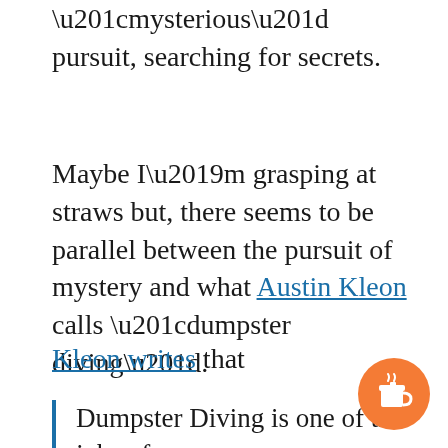“mysterious” pursuit, searching for secrets.
Maybe I’m grasping at straws but, there seems to be parallel between the pursuit of mystery and what Austin Kleon calls “dumpster diving”.
Kleon writes that
Dumpster Diving is one of the jobs of